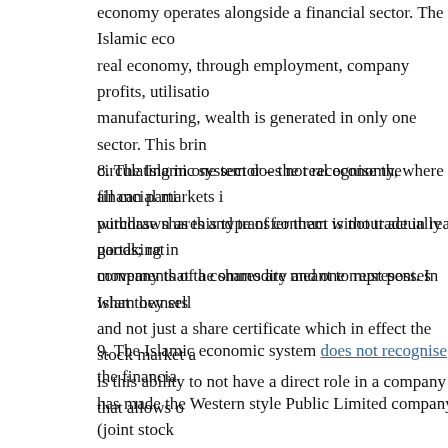economy operates alongside a financial sector. The Islamic eco real economy, through employment, company profits, utilisation manufacturing, wealth is generated in only one sector. This brin circulating in one sector – the real economy, where all can parti withdrawn as this type of contract is not trade in real goods; rath movements of a commodity and one must posses what they sell
8. The Islamic system does not recognise the financial markets i purchase shares and transfer them without actually partaking in company that the shares are meant to represent. In Islam owners and not just a share certificate which in effect the stock market a is this ability to not have a direct role in a company that allows o
9. The Islamic economic system does not recognise the financia has made the Western style Public Limited company (joint stock number of reasons. Fundamentally this type of contract contradi The company in the West represents a particular type of contrac an individual agrees to the written constitution of a company by formal offer from anyone. This has come to be termed as the Inc